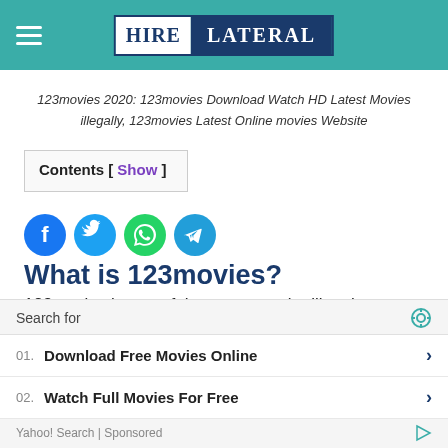[Figure (logo): HireLateral website header with teal background, hamburger menu icon on left, and HIRE LATERAL logo in center (white box with dark blue text for HIRE, dark navy background for LATERAL)]
123movies 2020: 123movies Download Watch HD Latest Movies illegally, 123movies Latest Online movies Website
Contents [ Show ]
[Figure (infographic): Row of four social media share icons: Facebook (blue circle with f), Twitter (light blue circle with bird), WhatsApp (green circle with phone), Telegram (blue circle with paper plane)]
What is 123movies?
123movies is one of the most popular illegal
[Figure (infographic): Search ad widget: 'Search for' header with eye icon, row 01 Download Free Movies Online with arrow, row 02 Watch Full Movies For Free with arrow, footer Yahoo! Search | Sponsored with play icon]